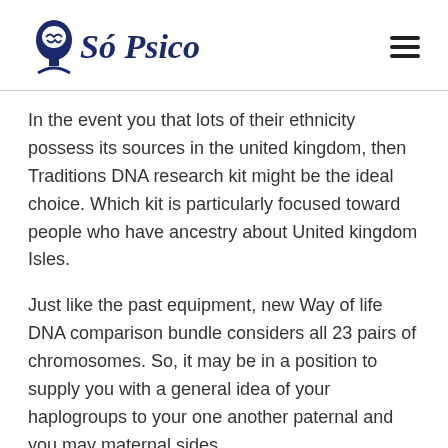Só Psico
In the event you that lots of their ethnicity possess its sources in the united kingdom, then Traditions DNA research kit might be the ideal choice. Which kit is particularly focused toward people who have ancestry about United kingdom Isles.
Just like the past equipment, new Way of life DNA comparison bundle considers all 23 pairs of chromosomes. So, it may be in a position to supply you with a general idea of your haplogroups to your one another paternal and you may maternal sides.
Even though Way of living DNA has never put-out one certified quantity to tell users how big is their database